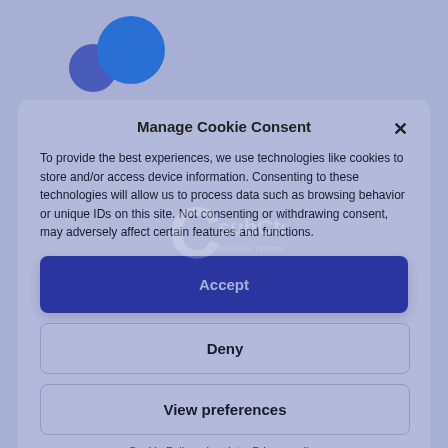[Figure (logo): subCtech Subsea Technologies logo — two blue circles (one large, one smaller) arranged overlapping, with 'subCtech' and 'Subsea Technologies' text watermark in the center of the page]
Manage Cookie Consent
To provide the best experiences, we use technologies like cookies to store and/or access device information. Consenting to these technologies will allow us to process data such as browsing behavior or unique IDs on this site. Not consenting or withdrawing consent, may adversely affect certain features and functions.
Accept
Deny
View preferences
Cookie Policy  Imprint – Privacy policy